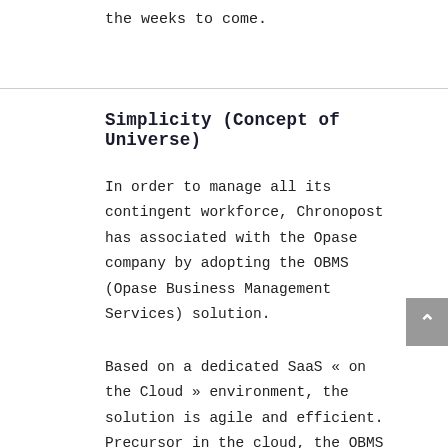the weeks to come.
Simplicity (Concept of Universe)
In order to manage all its contingent workforce, Chronopost has associated with the Opase company by adopting the OBMS (Opase Business Management Services) solution.
Based on a dedicated SaaS « on the Cloud » environment, the solution is agile and efficient. Precursor in the cloud, the OBMS solution presents advantages to us: